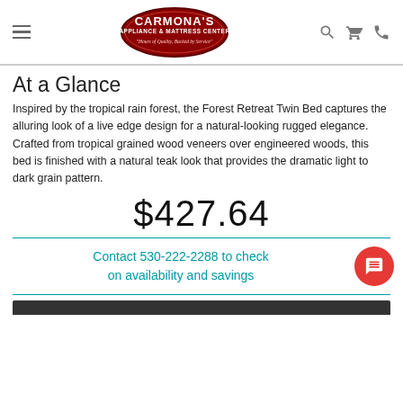Carmona's Appliance & Mattress Center — navigation header with logo, search, cart, phone icons
At a Glance
Inspired by the tropical rain forest, the Forest Retreat Twin Bed captures the alluring look of a live edge design for a natural-looking rugged elegance. Crafted from tropical grained wood veneers over engineered woods, this bed is finished with a natural teak look that provides the dramatic light to dark grain pattern.
$427.64
Contact 530-222-2288 to check on availability and savings